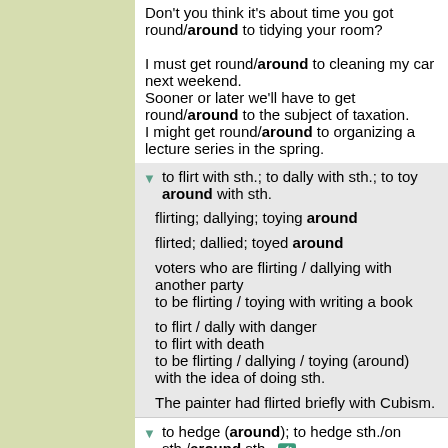Don't you think it's about time you got round/around to tidying your room?
I must get round/around to cleaning my car next weekend.
Sooner or later we'll have to get round/around to the subject of taxation.
I might get round/around to organizing a lecture series in the spring.
to flirt with sth.; to dally with sth.; to toy around with sth.
flirting; dallying; toying around
flirted; dallied; toyed around
voters who are flirting / dallying with another party
to be flirting / toying with writing a book
to flirt / dally with danger
to flirt with death
to be flirting / dallying / toying (around) with the idea of doing sth.
The painter had flirted briefly with Cubism.
to hedge (around); to hedge sth./on sth./around sth.